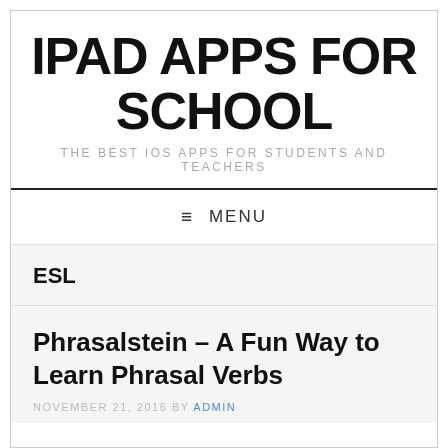IPAD APPS FOR SCHOOL
THE BEST IOS APPS FOR STUDENTS AND TEACHERS
≡ MENU
ESL
Phrasalstein – A Fun Way to Learn Phrasal Verbs
NOVEMBER 21, 2016 BY ADMIN